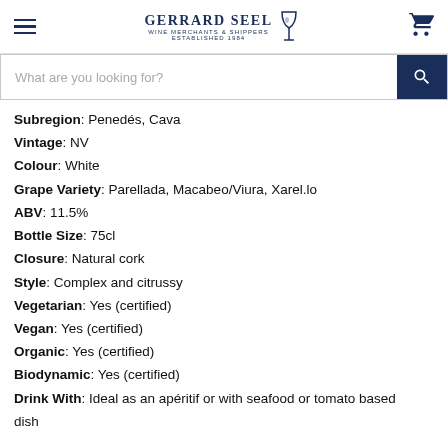Gerrard Seel Wine Merchants & Shippers Established 1984
What are you looking for?
Subregion: Penedés, Cava
Vintage: NV
Colour: White
Grape Variety: Parellada, Macabeo/Viura, Xarel.lo
ABV: 11.5%
Bottle Size: 75cl
Closure: Natural cork
Style: Complex and citrussy
Vegetarian: Yes (certified)
Vegan: Yes (certified)
Organic: Yes (certified)
Biodynamic: Yes (certified)
Drink With: Ideal as an apéritif or with seafood or tomato based dish